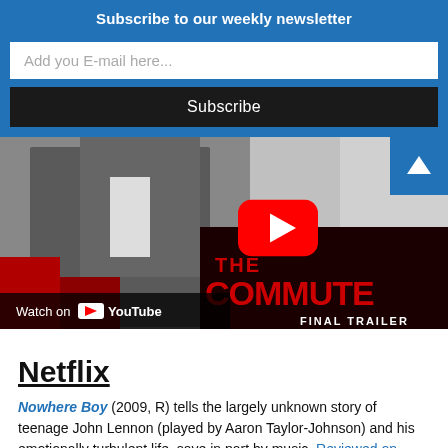Subscribe to our weekly newsletter
Add you E-mail here...
Subscribe
[Figure (screenshot): YouTube embedded video thumbnail for 'The Commuter Final Trailer' showing a man in a suit running, with a YouTube play button overlay and 'Watch on YouTube' bar at the bottom.]
Netflix
Nowhere Boy (2009, R) tells the largely unknown story of teenage John Lennon (played by Aaron Taylor-Johnson) and his emotionally turbulent life, save in part by music. Reviewed on